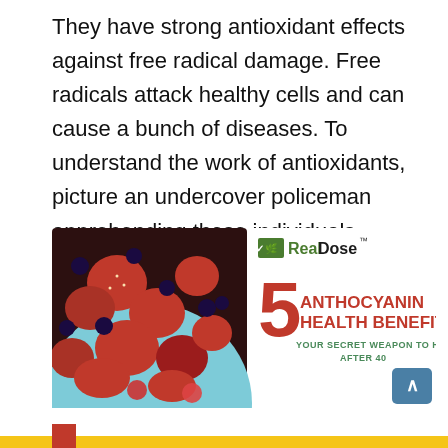They have strong antioxidant effects against free radical damage. Free radicals attack healthy cells and can cause a bunch of diseases. To understand the work of antioxidants, picture an undercover policeman apprehending those individuals looking to do harm. In either case, it's an important job.
[Figure (infographic): RealDose infographic showing a bowl of mixed berries (strawberries, blueberries) on a light blue plate on the left, with text on the right reading '5 ANTHOCYANIN HEALTH BENEFITS - YOUR SECRET WEAPON TO HEALTH AFTER 40' and the RealDose logo at the top right.]